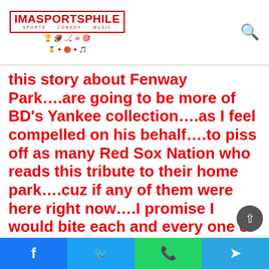IMASPORTSPHILE
this story about Fenway Park….are going to be more of BD's Yankee collection….as I feel compelled on his behalf….to piss off as many Red Sox Nation who reads this tribute to their home park….cuz if any of them were here right now….I promise I would bite each and every one of them…. "for sure, damn Red Sox!!!  Can you say devilish bitch?"
Facebook | Twitter | WhatsApp | Telegram